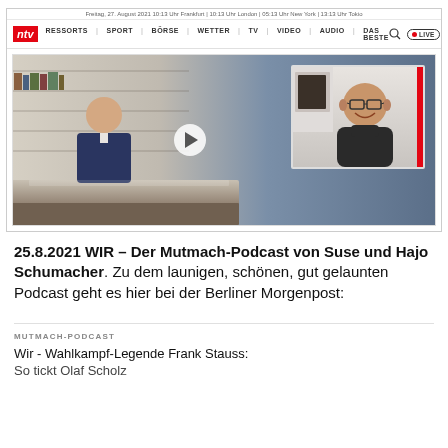[Figure (screenshot): ntv website screenshot showing navigation bar with logo, menu items (RESSORTS, SPORT, BÖRSE, WETTER, TV, VIDEO, AUDIO, DAS BESTE), a video thumbnail of a TV studio interview with a video call overlay of a smiling man with glasses, and a play button in the center.]
25.8.2021 WIR – Der Mutmach-Podcast von Suse und Hajo Schumacher. Zu dem launigen, schönen, gut gelaunten Podcast geht es hier bei der Berliner Morgenpost:
MUTMACH-PODCAST
Wir - Wahlkampf-Legende Frank Stauss: So tickt Olaf Scholz